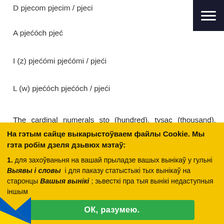D pjecom pjecim / pjeci
A pjecoch pjec
I (z) pjecomi pjecimi / pjeci
L (w) pjecoch pjecich / pjeci
The cardinal numerals sto (hundred), tysac (thousand), milion (million), miliarda (billion) are declined as if they were normal nouns.
The ordinal numerals are declined as if they were normal adjectives.
На гэтым сайце выкарыстоўваем файлы Cookie. Мы гэта робім дзеля дзьвюх мэтаў:
1. для захоўваньня на вашай прыладзе вашых вынікаў у гульні Выявы і словы і для паказу статыстыкі тых вынікаў на старонцы Вашыя вынікі ; зьвесткі пра тыя вынікі недаступныя іншым